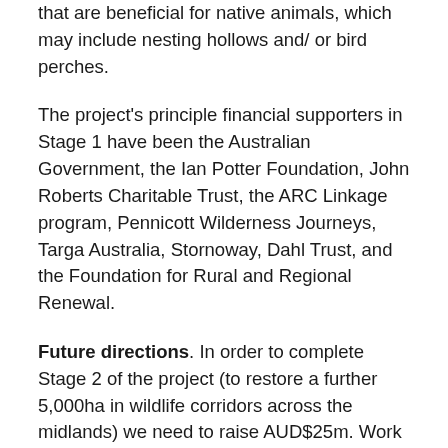that are beneficial for native animals, which may include nesting hollows and/ or bird perches.
The project's principle financial supporters in Stage 1 have been the Australian Government, the Ian Potter Foundation, John Roberts Charitable Trust, the ARC Linkage program, Pennicott Wilderness Journeys, Targa Australia, Stornoway, Dahl Trust, and the Foundation for Rural and Regional Renewal.
Future directions. In order to complete Stage 2 of the project (to restore a further 5,000ha in wildlife corridors across the midlands) we need to raise AUD$25m. Work is underway on landscape planning, community consultation, landholder engagement and the establishment of a fundraising campaign. We expect that the Tasmanian midlands will be transformed in the next five years, with